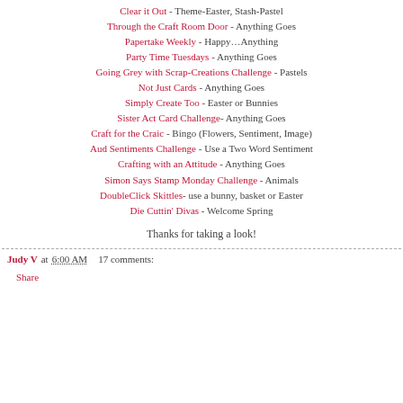Clear it Out - Theme-Easter, Stash-Pastel
Through the Craft Room Door - Anything Goes
Papertake Weekly - Happy…Anything
Party Time Tuesdays - Anything Goes
Going Grey with Scrap-Creations Challenge - Pastels
Not Just Cards - Anything Goes
Simply Create Too - Easter or Bunnies
Sister Act Card Challenge- Anything Goes
Craft for the Craic - Bingo (Flowers, Sentiment, Image)
Aud Sentiments Challenge - Use a Two Word Sentiment
Crafting with an Attitude - Anything Goes
Simon Says Stamp Monday Challenge - Animals
DoubleClick Skittles- use a bunny, basket or Easter
Die Cuttin' Divas - Welcome Spring
Thanks for taking a look!
Judy V at 6:00 AM    17 comments:    Share